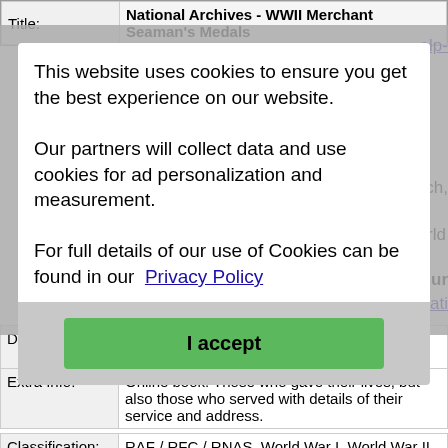| Field | Value |
| --- | --- |
| Title: | National Archives - WWII Merchant Seaman's Medals |
This website uses cookies to ensure you get the best experience on our website.
Our partners will collect data and use cookies for ad personalization and measurement.
For full details of our use of Cookies can be found in our Privacy Policy
I accept
| Field | Value |
| --- | --- |
| Description: | National Bank of Scotland - Roll of Honour 1914-1918 |
| Extra Info: | Online book. Those who gave their lives, but also those who served with details of their service and address. |
| Field | Value |
| --- | --- |
| Classification: | RAF / RFC / RNAS, World War I, World War II, Aircraft, Ships, Newspapers |
| Title: | Newspapers Online via Google |
| Link: | https://news.google.com/newspapers |
| Description: | Newspapers Online via Google |